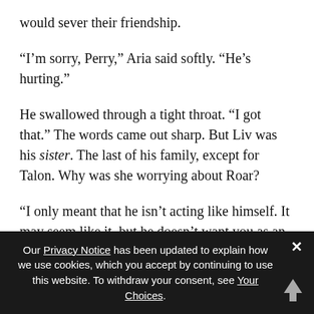would sever their friendship.
“I’m sorry, Perry,” Aria said softly. “He’s hurting.”
He swallowed through a tight throat. “I got that.” The words came out sharp. But Liv was his sister. The last of his family, except for Talon. Why was she worrying about Roar?
“I only meant that he isn’t acting like himself. It may seem like it, but he doesn’t want you as an enemy. He needs you more than ever.”
“He’s my best friend,” he said, lifting his gaze to her. “I know what he needs.”
Our Privacy Notice has been updated to explain how we use cookies, which you accept by continuing to use this website. To withdraw your consent, see Your Choices.